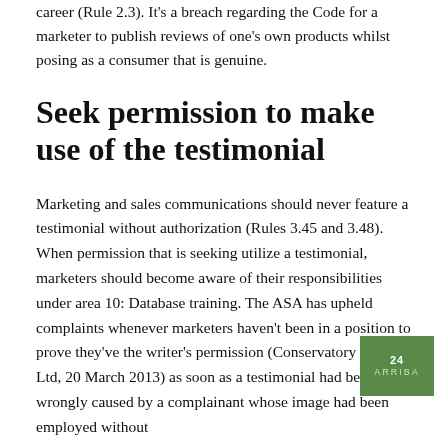career (Rule 2.3). It's a breach regarding the Code for a marketer to publish reviews of one's own products whilst posing as a consumer that is genuine.
Seek permission to make use of the testimonial
Marketing and sales communications should never feature a testimonial without authorization (Rules 3.45 and 3.48). When permission that is seeking utilize a testimonial, marketers should become aware of their responsibilities under area 10: Database training. The ASA has upheld complaints whenever marketers haven't been in a position to prove they've the writer's permission (Conservatory Outlet Ltd, 20 March 2013) as soon as a testimonial had been wrongly caused by a complainant whose image had been employed without